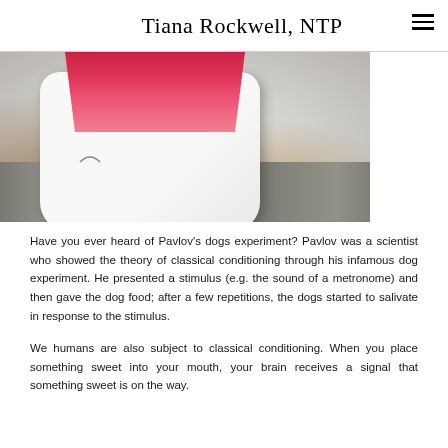Tiana Rockwell, NTP
[Figure (photo): Close-up photo of a white rectangular container with pink/red bristles or toothbrush contents on a granite countertop]
Have you ever heard of Pavlov's dogs experiment? Pavlov was a scientist who showed the theory of classical conditioning through his infamous dog experiment. He presented a stimulus (e.g. the sound of a metronome) and then gave the dog food; after a few repetitions, the dogs started to salivate in response to the stimulus.
We humans are also subject to classical conditioning. When you place something sweet into your mouth, your brain receives a signal that something sweet is on the way.